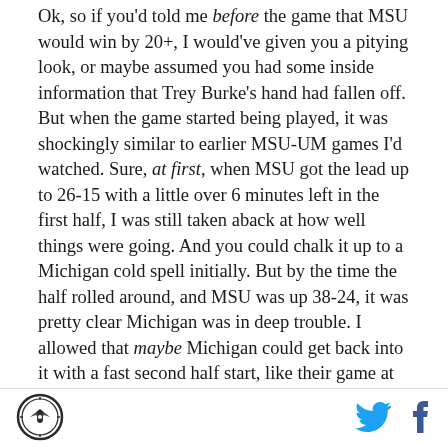Ok, so if you'd told me before the game that MSU would win by 20+, I would've given you a pitying look, or maybe assumed you had some inside information that Trey Burke's hand had fallen off. But when the game started being played, it was shockingly similar to earlier MSU-UM games I'd watched. Sure, at first, when MSU got the lead up to 26-15 with a little over 6 minutes left in the first half, I was still taken aback at how well things were going. And you could chalk it up to a Michigan cold spell initially. But by the time the half rolled around, and MSU was up 38-24, it was pretty clear Michigan was in deep trouble. I allowed that maybe Michigan could get back into it with a fast second half start, like their game at OSU. Then the first TV timeout hit at 16 minutes left, Michigan State was
[Figure (logo): Circular logo with eagle/compass design]
[Figure (logo): Twitter bird icon in blue]
[Figure (logo): Facebook f icon in dark blue]